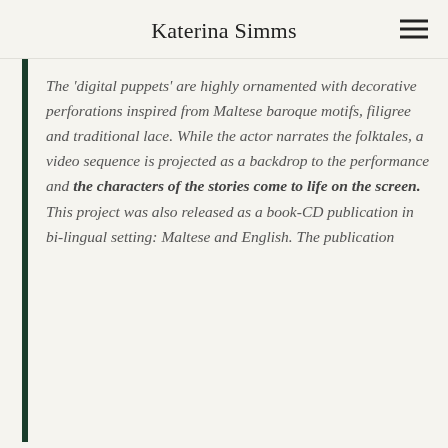Katerina Simms
The 'digital puppets' are highly ornamented with decorative perforations inspired from Maltese baroque motifs, filigree and traditional lace. While the actor narrates the folktales, a video sequence is projected as a backdrop to the performance and the characters of the stories come to life on the screen. This project was also released as a book-CD publication in bi-lingual setting: Maltese and English. The publication